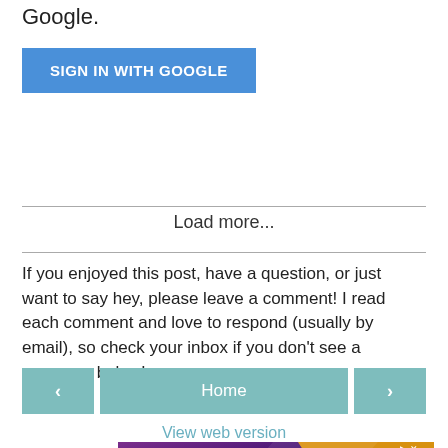Google.
[Figure (other): Blue 'SIGN IN WITH GOOGLE' button]
Load more...
If you enjoyed this post, have a question, or just want to say hey, please leave a comment! I read each comment and love to respond (usually by email), so check your inbox if you don't see a response below!
[Figure (other): Navigation bar with left arrow, Home button, and right arrow in teal/muted green color]
View web version
[Figure (other): Hexaware advertisement banner showing 'Vacancies for Java' text on purple/yellow gradient background]